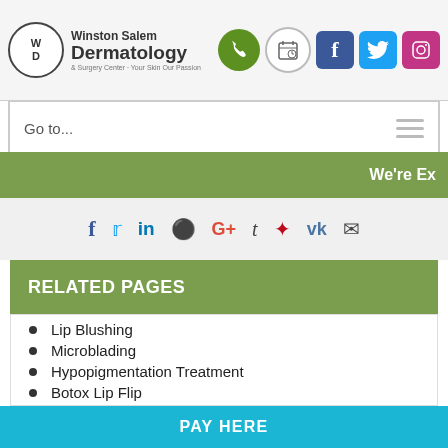Winston Salem Dermatology & Surgery Center - Your Skin Our Passion
Go to...
We're Ex
RELATED PAGES
Lip Blushing
Microblading
Hypopigmentation Treatment
Botox Lip Flip
Dermaplaning
Coolsculpting for Armpit Fat
PAY HERE